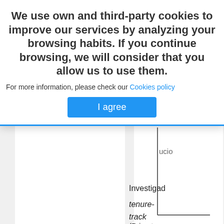We use own and third-party cookies to improve our services by analyzing your browsing habits. If you continue browsing, we will consider that you allow us to use them.
For more information, please check our Cookies policy
I agree
[Figure (other): Partial view of a document with an L-shaped chart axis outline visible, and partial text including 'Investigad', 'tenure-track', '(Primates']